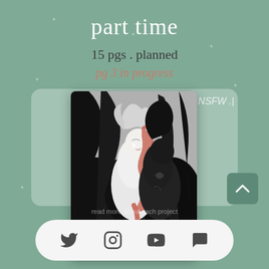part time
15 pgs . planned
pg 3 in progress
[Figure (illustration): Digital illustration card showing two intertwined figures — one white/light with gray hair and red/coral snake-like elements, one dark/black, swirling together in a yin-yang composition on a gray background. Dramatic black flowing hair and dark smoke fill the edges. The artwork has a fantasy/supernatural aesthetic with red serpentine accents.]
NSFW .|}
Social icons: Twitter, Instagram, YouTube, Chat